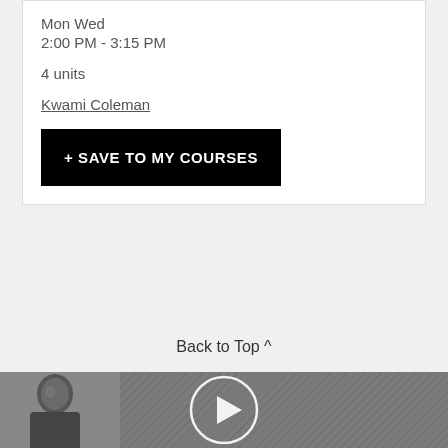Mon Wed
2:00 PM - 3:15 PM
4 units
Kwami Coleman
+ SAVE TO MY COURSES
Back to Top ^
[Figure (photo): Video thumbnail showing a person with a play button overlay on a dark gray background]